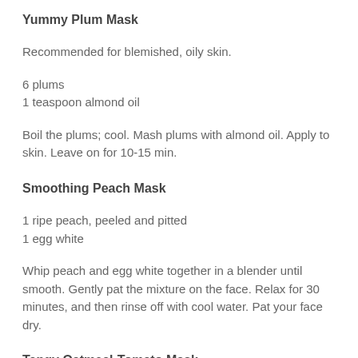Yummy Plum Mask
Recommended for blemished, oily skin.
6 plums
1 teaspoon almond oil
Boil the plums; cool. Mash plums with almond oil. Apply to skin. Leave on for 10-15 min.
Smoothing Peach Mask
1 ripe peach, peeled and pitted
1 egg white
Whip peach and egg white together in a blender until smooth. Gently pat the mixture on the face. Relax for 30 minutes, and then rinse off with cool water. Pat your face dry.
Tangy Oatmeal-Tomato Mask